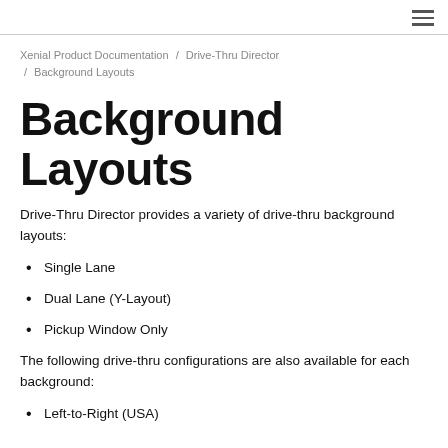≡
Xenial Product Documentation / Drive-Thru Director / Background Layouts
Background Layouts
Drive-Thru Director provides a variety of drive-thru background layouts:
Single Lane
Dual Lane (Y-Layout)
Pickup Window Only
The following drive-thru configurations are also available for each background:
Left-to-Right (USA)